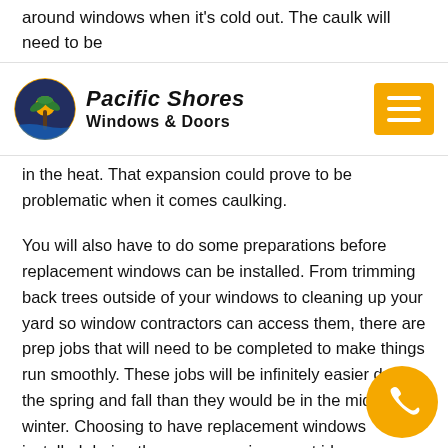around windows when it's cold out. The caulk will need to be
Pacific Shores Windows & Doors
in the heat. That expansion could prove to be problematic when it comes caulking.

You will also have to do some preparations before replacement windows can be installed. From trimming back trees outside of your windows to cleaning up your yard so window contractors can access them, there are prep jobs that will need to be completed to make things run smoothly. These jobs will be infinitely easier during the spring and fall than they would be in the middle of winter. Choosing to have replacement windows installed during these seasons is a great idea.

While you should be mindful of the weather when installing windows, Pacific Shores Windows & Doors can help you plan in during any time of the year. It's better to get new windows in